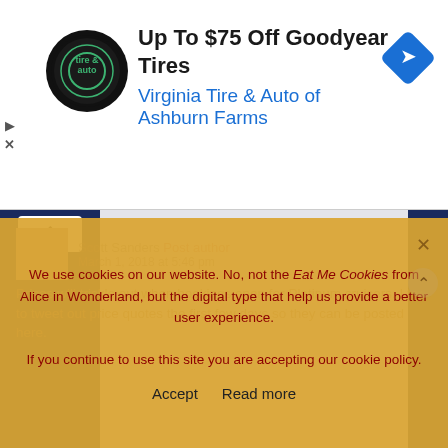[Figure (screenshot): Ad banner for Virginia Tire & Auto of Ashburn Farms with circular logo, text 'Up To $75 Off Goodyear Tires', blue subtitle, and blue diamond navigation icon]
Up To $75 Off Goodyear Tires
Virginia Tire & Auto of Ashburn Farms
[Figure (screenshot): Website content area with dark navy blue sidebar and light gray main content area with chevron up button]
We use cookies on our website. No, not the Eat Me Cookies from Alice in Wonderland, but the digital type that help us provide a better user experience.

If you continue to use this site you are accepting our cookie policy.

Accept   Read more